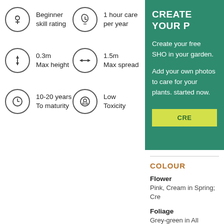Beginner skill rating
1 hour care per year
0.3m Max height
1.5m Max spread
10-20 years To maturity
Low Toxicity
CREATE YOUR P
Create your free SHO in your garden.
Add your own photos to care for your plants. started now.
CRE
COLOUR
Flower
Pink, Cream in Spring; Cre
Foliage
Grey-green in All seasons
HOW TO CARE